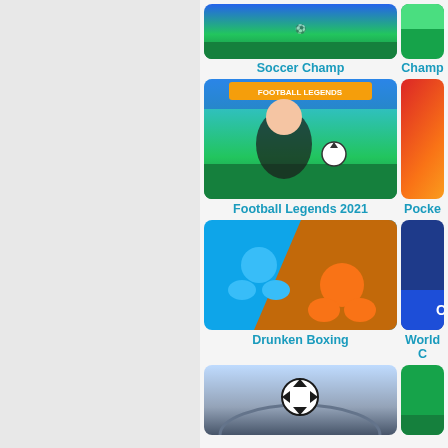[Figure (screenshot): Game thumbnail for Soccer Champ - football game screenshot]
Soccer Champ
[Figure (screenshot): Game thumbnail for Champ - partially visible on right]
Champ
[Figure (screenshot): Game thumbnail for Football Legends 2021 - cartoon football game]
Football Legends 2021
[Figure (screenshot): Game thumbnail for Pocket - partially visible on right]
Pocke
[Figure (screenshot): Game thumbnail for Drunken Boxing - blue and orange stickman figures]
Drunken Boxing
[Figure (screenshot): Game thumbnail for World Cricket - partially visible on right]
World C
[Figure (screenshot): Game thumbnail bottom left - soccer ball in stadium]
[Figure (screenshot): Game thumbnail bottom right - green field, partially visible]